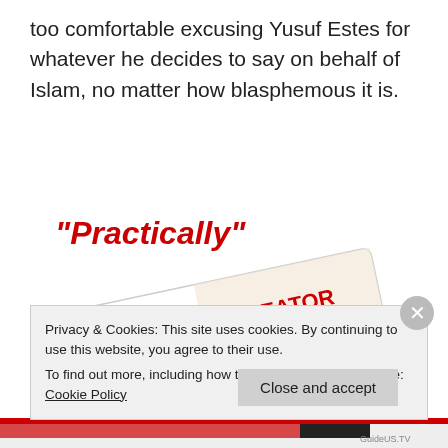too comfortable excusing Yusuf Estes for whatever he decides to say on behalf of Islam, no matter how blasphemous it is.
[Figure (illustration): A bumper sticker for GuideUS.TV shown at an angle, with text: 'Worship the CREATOR Not the CREATION www.GuideUS.TV' with a shield logo saying GUIDE US TV.]
"Practically"
Privacy & Cookies: This site uses cookies. By continuing to use this website, you agree to their use.
To find out more, including how to control cookies, see here: Cookie Policy
Close and accept